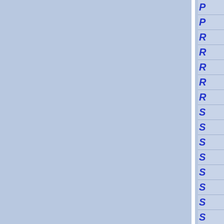[Figure (screenshot): Navigation index panel showing two large blue columns separated by a white vertical divider, with a right-side navigation list showing italic bold blue letters P, P, R, R, R, R, R, S, S, S, S, S, S, S, S, S on a light blue-grey background with horizontal dividers between each item]
P
P
R
R
R
R
R
S
S
S
S
S
S
S
S
S